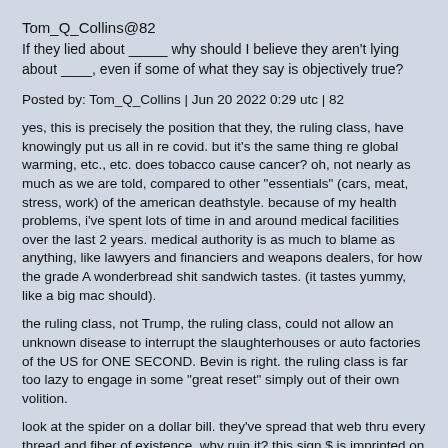Tom_Q_Collins@82
If they lied about _____ why should I believe they aren't lying about ____, even if some of what they say is objectively true?
Posted by: Tom_Q_Collins | Jun 20 2022 0:29 utc | 82
yes, this is precisely the position that they, the ruling class, have knowingly put us all in re covid. but it's the same thing re global warming, etc., etc. does tobacco cause cancer? oh, not nearly as much as we are told, compared to other "essentials" (cars, meat, stress, work) of the american deathstyle. because of my health problems, i've spent lots of time in and around medical facilities over the last 2 years. medical authority is as much to blame as anything, like lawyers and financiers and weapons dealers, for how the grade A wonderbread shit sandwich tastes. (it tastes yummy, like a big mac should).
the ruling class, not Trump, the ruling class, could not allow an unknown disease to interrupt the slaughterhouses or auto factories of the US for ONE SECOND. Bevin is right. the ruling class is far too lazy to engage in some "great reset" simply out of their own volition.
look at the spider on a dollar bill. they've spread that web thru every thread and fiber of existence. why ruin it? this sign $ is imprinted on our retinas, our consciousness of